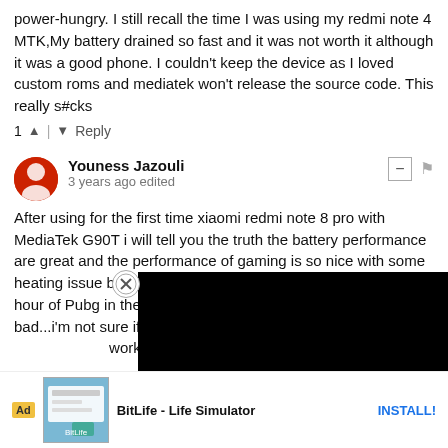power-hungry. I still recall the time I was using my redmi note 4 MTK,My battery drained so fast and it was not worth it although it was a good phone. I couldn't keep the device as I loved custom roms and mediatek won't release the source code. This really s#cks
1 ▲ | ▼ Reply
Youness Jazouli
3 years ago edited
After using for the first time xiaomi redmi note 8 pro with MediaTek G90T i will tell you the truth the battery performance are great and the performance of gaming is so nice with some heating issue but it's a normal heat between 37-47C for one hour of Pubg in the high graphic s... me that"s not bad...i'm not sure if years with the same performance... work for a nice updates for this n...
▲ | ▼ Reply
gaezbove
3...
Are tho...
[Figure (screenshot): Black video player overlay in bottom-right of page]
[Figure (infographic): Ad banner: BitLife - Life Simulator with Ad label, app icon, and INSTALL! button]